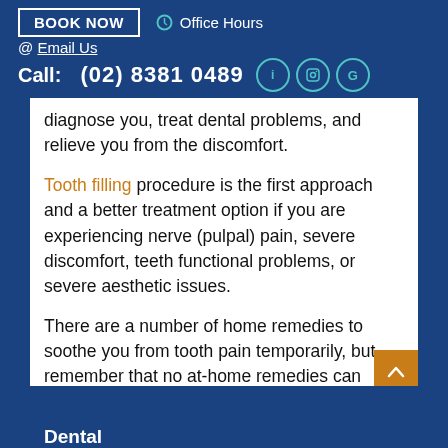BOOK NOW  | Office Hours
@ Email Us
Call: (02) 8381 0489
diagnose you, treat dental problems, and relieve you from the discomfort.
Tooth filling procedure is the first approach and a better treatment option if you are experiencing nerve (pulpal) pain, severe discomfort, teeth functional problems, or severe aesthetic issues.
There are a number of home remedies to soothe you from tooth pain temporarily, but remember that no at-home remedies can replace a complete dental evaluation by a dentist.
Dental...